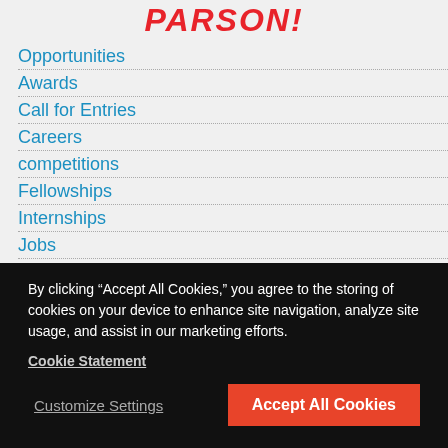PARSON!
Opportunities
Awards
Call for Entries
Careers
competitions
Fellowships
Internships
Jobs
Research Assistantships
Residencies
Scholarships
Teaching Jobs
Volunteer
By clicking “Accept All Cookies,” you agree to the storing of cookies on your device to enhance site navigation, analyze site usage, and assist in our marketing efforts.
Cookie Statement
Customize Settings
Accept All Cookies